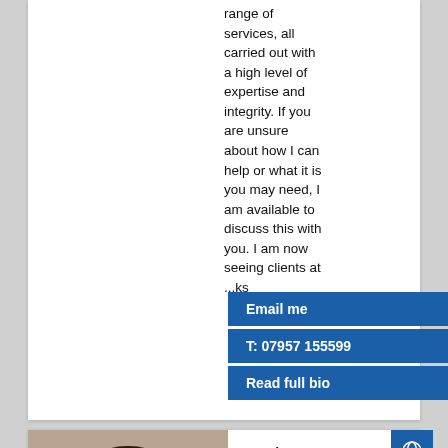range of services, all carried out with a high level of expertise and integrity. If you are unsure about how I can help or what it is you may need, I am available to discuss this with you. I am now seeing clients at [...]ks
Email me
T: 07957 155599
Read full bio
[Figure (photo): Portrait photo of a woman with dark hair, looking at camera]
Location: Birmingham, West Midlands, Tam...